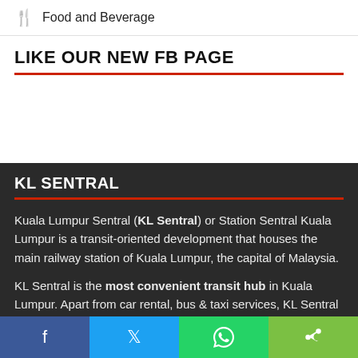Food and Beverage
LIKE OUR NEW FB PAGE
KL SENTRAL
Kuala Lumpur Sentral (KL Sentral) or Station Sentral Kuala Lumpur is a transit-oriented development that houses the main railway station of Kuala Lumpur, the capital of Malaysia.
KL Sentral is the most convenient transit hub in Kuala Lumpur. Apart from car rental, bus & taxi services, KL Sentral is also connected to several major rail systems (LRT, MRT &
Social share bar: Facebook, Twitter, WhatsApp, Share